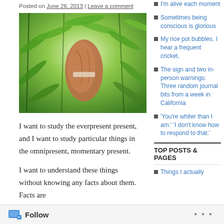Posted on June 26, 2013 | Leave a comment
[Figure (photo): A hand holding a plant or root surrounded by green foliage/leaves, photographed from below against a bright sky.]
I want to study the everpresent present, and I want to study particular things in the omnipresent, momentary present.
I want to understand these things without knowing any facts about them. Facts are
I'm alive each moment
Sometimes being conscious is glorious
My rice pot bubbles. I hear a frequent cricket.
The sign and two in-person warnings: Three random journal bits from a week in California
'You're whiter than I am.' 'I don't know how to respond to that.'
TOP POSTS & PAGES
Things I actually
Follow